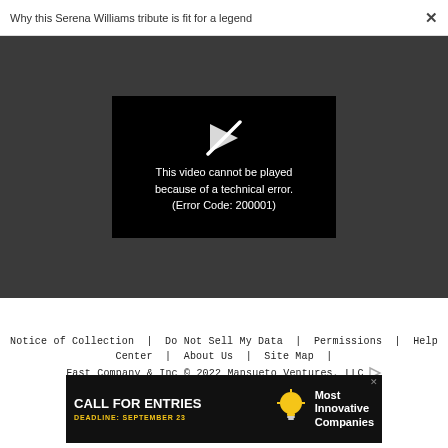Why this Serena Williams tribute is fit for a legend  ×
[Figure (screenshot): Video player showing error: 'This video cannot be played because of a technical error. (Error Code: 200001)' on a dark grey background with a broken play icon.]
Notice of Collection  |  Do Not Sell My Data  |  Permissions  |  Help Center  |  About Us  |  Site Map  |  Fast Company & Inc © 2022 Mansueto Ventures, LLC
[Figure (infographic): Advertisement banner: 'CALL FOR ENTRIES DEADLINE: SEPTEMBER 23' with a lightbulb icon and 'Most Innovative Companies' text on dark background.]